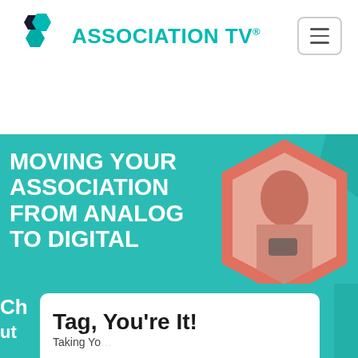[Figure (logo): Association TV logo with teal hexagon icons and teal text reading ASSOCIATION TV with registered trademark symbol]
[Figure (other): Hamburger menu button (three horizontal lines) in a rounded rectangle border]
[Figure (infographic): Hero banner with teal background. White bold uppercase text reads: MOVING YOUR ASSOCIATION FROM ANALOG TO DIGITAL. Right side shows a hexagonal photo of a woman looking at a phone, with a coral/salmon color treatment and red hexagon border outline.]
[Figure (other): White rounded card on teal background showing large bold text: Tag, You're It! with subtitle text partially visible below]